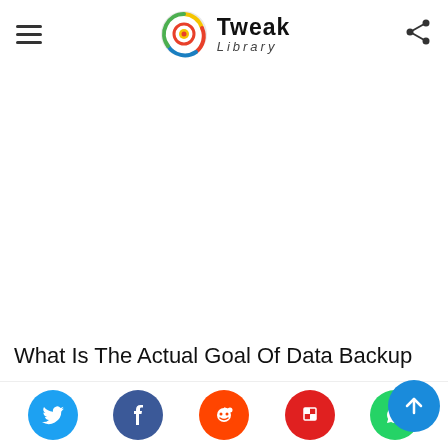Tweak Library
[Figure (other): Advertisement or blank content area]
What Is The Actual Goal Of Data Backup
[Figure (other): Gray content bar below title]
[Figure (other): Social sharing bar with Twitter, Facebook, Reddit, Flipboard, WhatsApp icons]